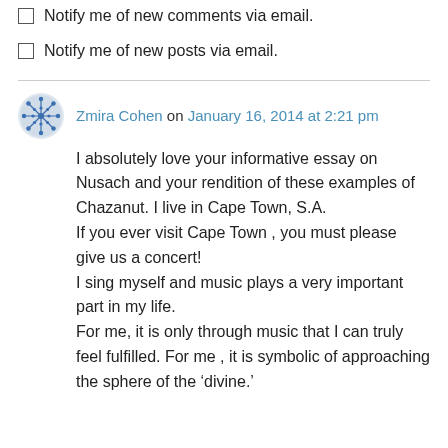Notify me of new comments via email.
Notify me of new posts via email.
Zmira Cohen on January 16, 2014 at 2:21 pm
I absolutely love your informative essay on Nusach and your rendition of these examples of Chazanut. I live in Cape Town, S.A. If you ever visit Cape Town , you must please give us a concert! I sing myself and music plays a very important part in my life. For me, it is only through music that I can truly feel fulfilled. For me , it is symbolic of approaching the sphere of the ‘divine.’